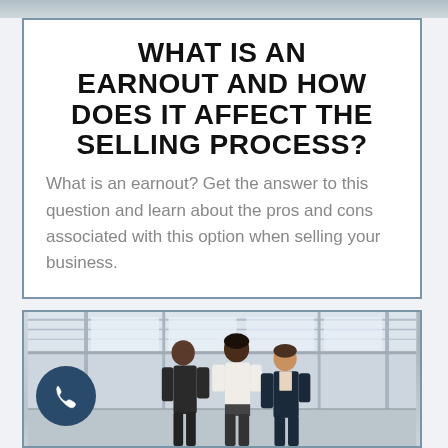WHAT IS AN EARNOUT AND HOW DOES IT AFFECT THE SELLING PROCESS?
What is an earnout? Get the answer to this question and learn about the pros and cons associated with this option when selling your business.
[Figure (photo): Three business professionals standing and talking in an industrial or warehouse setting with large windows and structural beams in the background.]